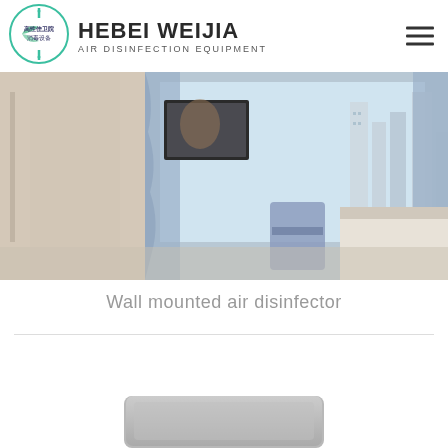[Figure (logo): Hebei Weijia circular logo with green cross and leaf elements and Chinese characters]
HEBEI WEIJIA
AIR DISINFECTION EQUIPMENT
[Figure (photo): Interior photo of a modern hotel or hospital room with blue curtains, a wall-mounted TV, blue chair, and city skyline view through large windows]
Wall mounted air disinfector
[Figure (photo): Bottom preview of a wall mounted air disinfector product, partially visible at bottom of page]